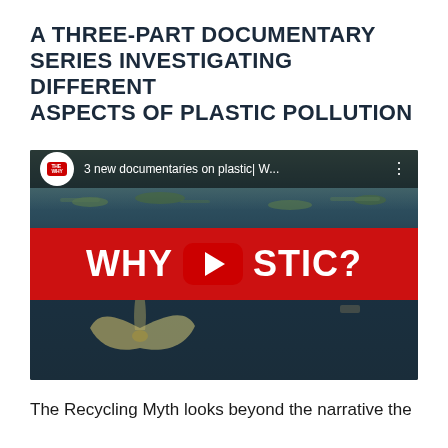A THREE-PART DOCUMENTARY SERIES INVESTIGATING DIFFERENT ASPECTS OF PLASTIC POLLUTION
[Figure (screenshot): YouTube video thumbnail for 'The Why' channel showing '3 new documentaries on plastic | W...' with a red banner overlay reading 'WHY PLASTIC?' with a YouTube play button, set against an underwater ocean scene with a floating plastic bag]
The Recycling Myth looks beyond the narrative the